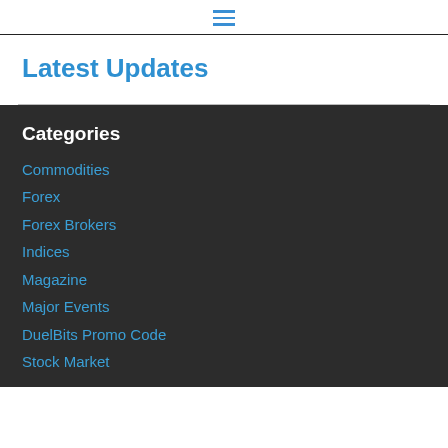≡
Latest Updates
Categories
Commodities
Forex
Forex Brokers
Indices
Magazine
Major Events
DuelBits Promo Code
Stock Market